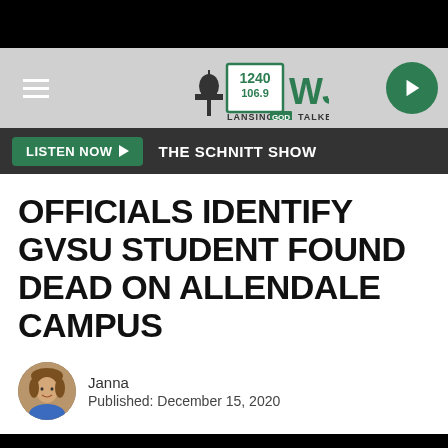[Figure (screenshot): WJIM 1240/106.9 radio station logo - Lansing's GOD Talker, with hamburger menu and play button]
LISTEN NOW ▶  THE SCHNITT SHOW
OFFICIALS IDENTIFY GVSU STUDENT FOUND DEAD ON ALLENDALE CAMPUS
Janna
Published: December 15, 2020